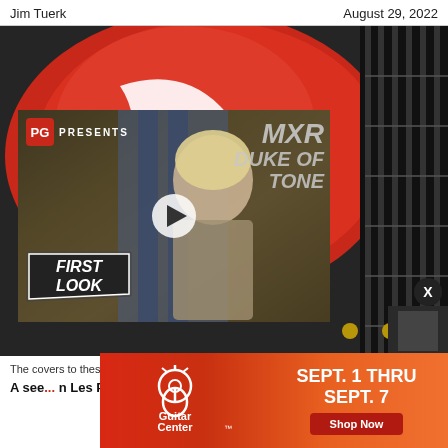Jim Tuerk   August 29, 2022
[Figure (photo): Red Gibson Les Paul guitar on dark background with a video overlay showing a guitarist and text 'PG PRESENTS MXR DUKE OF TONE' with 'FIRST LOOK' badge and play button]
The covers to these PAF humbuckers had never been removed until this gu...
A see... n Les Paul C...
[Figure (advertisement): Guitar Center advertisement banner: red-to-orange gradient with Guitar Center logo on left and text 'SEPT. 1 THRU SEPT. 7' with 'Shop Now' button]